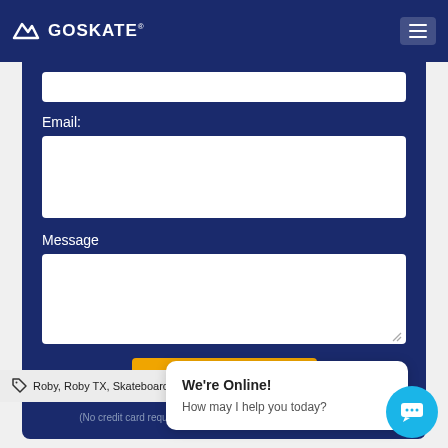GOSKATE
Email:
Message
Submit
(No credit card required.)  100% secure.  Your privacy is protected.
Roby, Roby TX, Skateboard C...
We're Online!
How may I help you today?